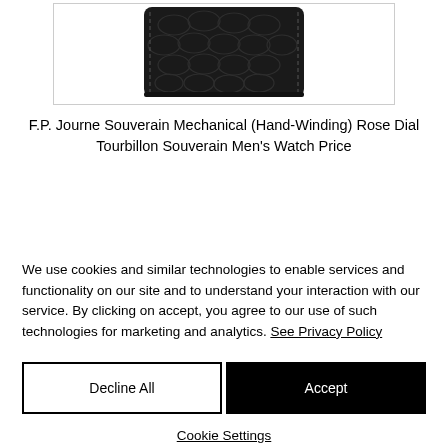[Figure (photo): Partial view of a black crocodile leather watch strap on a white background, shown inside a bordered image frame]
F.P. Journe Souverain Mechanical (Hand-Winding) Rose Dial Tourbillon Souverain Men's Watch Price
We use cookies and similar technologies to enable services and functionality on our site and to understand your interaction with our service. By clicking on accept, you agree to our use of such technologies for marketing and analytics. See Privacy Policy
Decline All
Accept
Cookie Settings